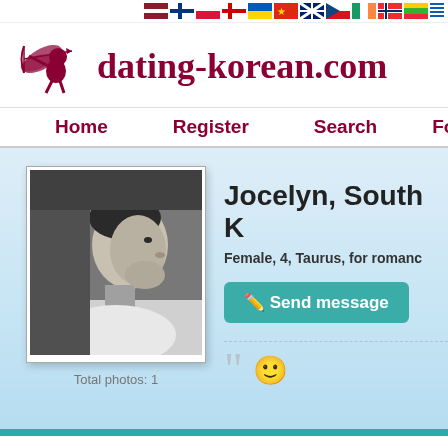Flag navigation bar with country flags
dating-korean.com
Home | Register | Search | Forum
[Figure (photo): Black and white side profile photo of a young Asian man in a white t-shirt]
Total photos: 1
Jocelyn, South K
Female, 4, Taurus, for romanc
Send message
[Figure (illustration): Large opening quotation mark icon followed by a smiley face emoji]